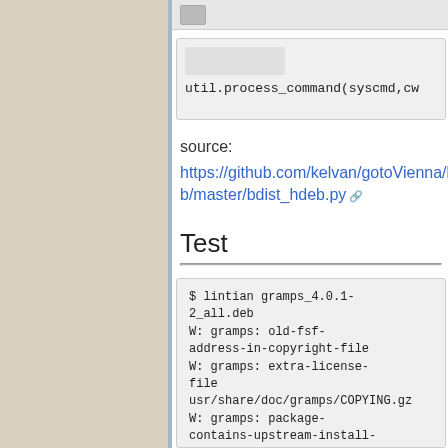[Figure (screenshot): Code block showing: util.process_command(syscmd,cwd (truncated)]
source:
https://github.com/kelvan/gotoVienna/blob/master/bdist_hdeb.py
Test
[Figure (screenshot): Terminal code block showing: $ lintian gramps_4.0.1-2_all.deb
W: gramps: old-fsf-address-in-copyright-file
W: gramps: extra-license-file usr/share/doc/gramps/COPYING.gz
W: gramps: package-contains-upstream-install-documentation
usr/share/doc/gramps/INSTALL]